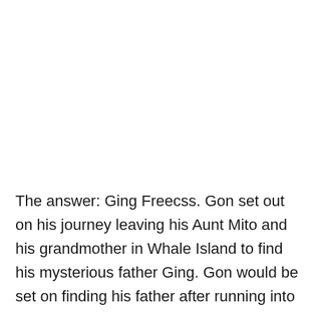The answer: Ging Freecss. Gon set out on his journey leaving his Aunt Mito and his grandmother in Whale Island to find his mysterious father Ging. Gon would be set on finding his father after running into his father's student Kite. We would all see that in the 13th Hunter Chairman Selection arc that Gon would finally meet his father after recovering from the previous